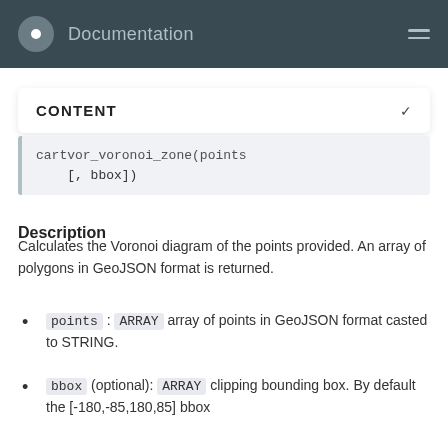Documentation
CONTENT
cartvor_voronoi_pLzone(points [, bbox])
Description
Calculates the Voronoi diagram of the points provided. An array of polygons in GeoJSON format is returned.
points : ARRAY array of points in GeoJSON format casted to STRING.
bbox (optional): ARRAY clipping bounding box. By default the [-180,-85,180,85] bbox